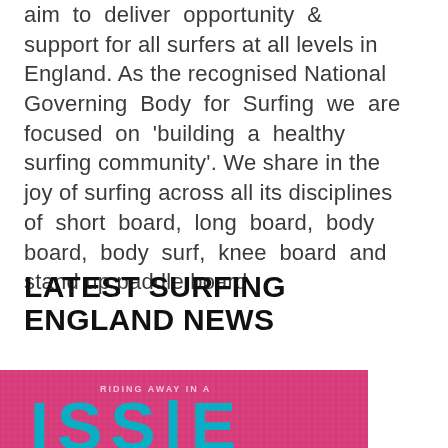aim to deliver opportunity & support for all surfers at all levels in England. As the recognised National Governing Body for Surfing we are focused on 'building a healthy surfing community'. We share in the joy of surfing across all its disciplines of short board, long board, body board, body surf, knee board and stand up paddle board.
LATEST SURFING ENGLAND NEWS
[Figure (photo): A pink/magenta halftone-patterned banner image with large teal/cyan letters partially visible at the bottom edge, appearing to be a news or promotional graphic for Surfing England.]